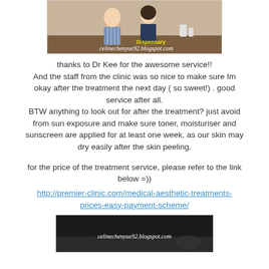[Figure (photo): Two people standing in front of a clinic dispensary counter]
thanks to Dr Kee for the awesome service!! And the staff from the clinic was so nice to make sure Im okay after the treatment the next day ( so sweet!) . good service after all. BTW anything to look out for after the treatment? just avoid from sun exposure and make sure toner, moisturiser and sunscreen are applied for at least one week, as our skin may dry easily after the skin peeling.
for the price of the treatment service, please refer to the link below =))
http://premier-clinic.com/medical-aesthetic-treatments-prices-easy-payment-scheme/
[Figure (photo): Dark background with text celinechenyue92.blogspot.com]